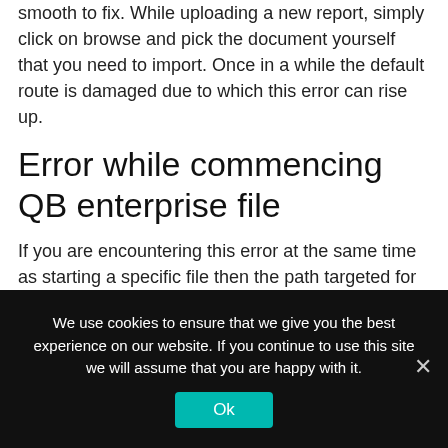smooth to fix. While uploading a new report, simply click on browse and pick the document yourself that you need to import. Once in a while the default route is damaged due to which this error can rise up.
Error while commencing QB enterprise file
If you are encountering this error at the same time as starting a specific file then the path targeted for that organisation record is probably wrong. You want to reset the direction by using following the steps mentioned below:
We use cookies to ensure that we give you the best experience on our website. If you continue to use this site we will assume that you are happy with it.